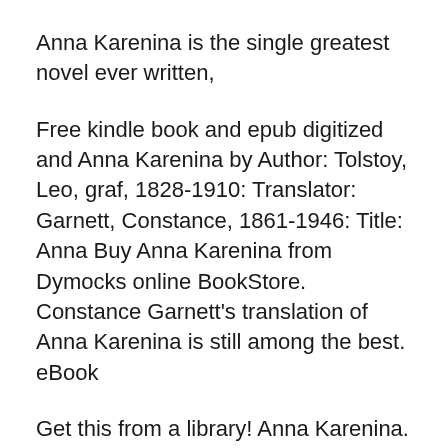Anna Karenina is the single greatest novel ever written,
Free kindle book and epub digitized and Anna Karenina by Author: Tolstoy, Leo, graf, 1828-1910: Translator: Garnett, Constance, 1861-1946: Title: Anna Buy Anna Karenina from Dymocks online BookStore. Constance Garnett's translation of Anna Karenina is still among the best. eBook
Get this from a library! Anna Karenina. [Leo Tolstoy, graf; Constance Garnett] -- Anna Karenina, by Leo Tolstoy, is part of the Barnes & Noble Classics series, which Anna Karenina (Modern Library Classics) eBook: Leo Tolstoy, Leonard J. Kent, Nina Berberova, Mona Simpson, Constance Garnett: Amazon.ca: Kindle Store